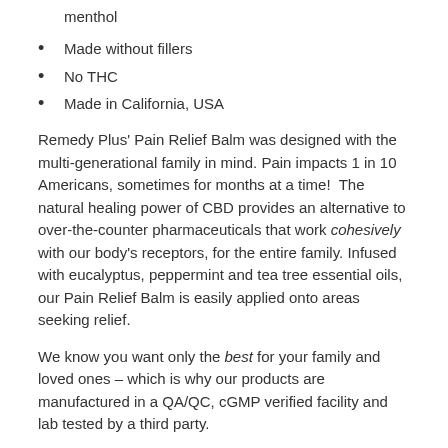menthol
Made without fillers
No THC
Made in California, USA
Remedy Plus' Pain Relief Balm was designed with the multi-generational family in mind. Pain impacts 1 in 10 Americans, sometimes for months at a time!  The natural healing power of CBD provides an alternative to over-the-counter pharmaceuticals that work cohesively with our body's receptors, for the entire family. Infused with eucalyptus, peppermint and tea tree essential oils, our Pain Relief Balm is easily applied onto areas seeking relief.
We know you want only the best for your family and loved ones – which is why our products are manufactured in a QA/QC, cGMP verified facility and lab tested by a third party.
Benefits